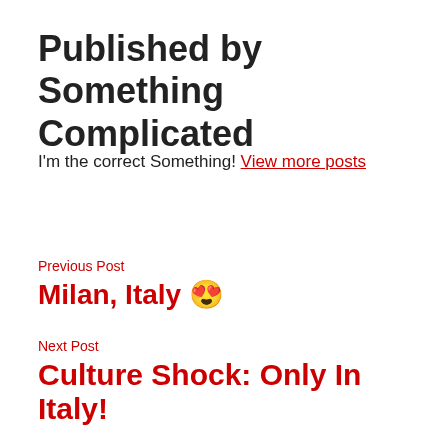Published by Something Complicated
I'm the correct Something! View more posts
Previous Post
Milan, Italy 😍
Next Post
Culture Shock: Only In Italy!